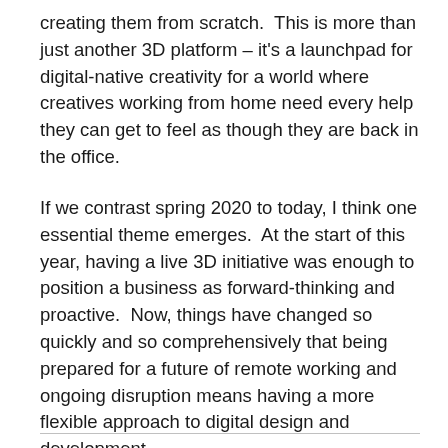creating them from scratch.  This is more than just another 3D platform – it's a launchpad for digital-native creativity for a world where creatives working from home need every help they can get to feel as though they are back in the office.
If we contrast spring 2020 to today, I think one essential theme emerges.  At the start of this year, having a live 3D initiative was enough to position a business as forward-thinking and proactive.  Now, things have changed so quickly and so comprehensively that being prepared for a future of remote working and ongoing disruption means having a more flexible approach to digital design and development.